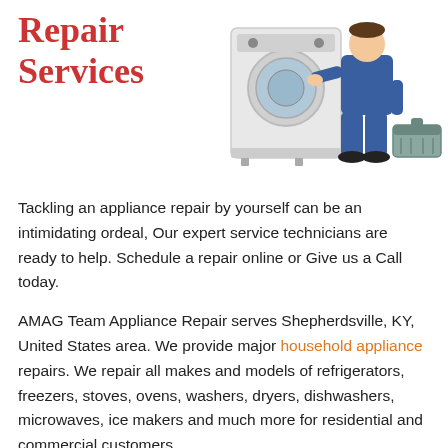Repair Services
[Figure (illustration): A technician in blue uniform kneeling beside a front-loading washing machine, with a toolbox nearby.]
Tackling an appliance repair by yourself can be an intimidating ordeal, Our expert service technicians are ready to help. Schedule a repair online or Give us a Call today.
AMAG Team Appliance Repair serves Shepherdsville, KY, United States area. We provide major household appliance repairs. We repair all makes and models of refrigerators, freezers, stoves, ovens, washers, dryers, dishwashers, microwaves, ice makers and much more for residential and commercial customers.